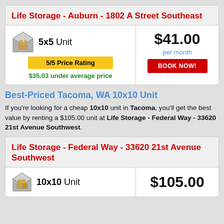Life Storage - Auburn - 1802 A Street Southeast
| Unit Info | Price |
| --- | --- |
| 5x5 Unit | 5/5 Price Rating | $35.03 under average price | $41.00 per month | BOOK NOW! |
Best-Priced Tacoma, WA 10x10 Unit
If you're looking for a cheap 10x10 unit in Tacoma, you'll get the best value by renting a $105.00 unit at Life Storage - Federal Way - 33620 21st Avenue Southwest.
Life Storage - Federal Way - 33620 21st Avenue Southwest
10x10 Unit  $105.00